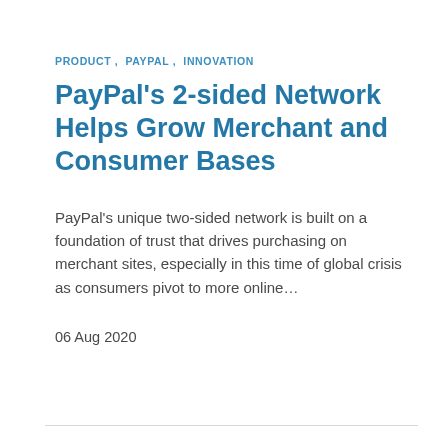PRODUCT ,  PAYPAL ,  INNOVATION
PayPal's 2-sided Network Helps Grow Merchant and Consumer Bases
PayPal's unique two-sided network is built on a foundation of trust that drives purchasing on merchant sites, especially in this time of global crisis as consumers pivot to more online...
06 Aug 2020